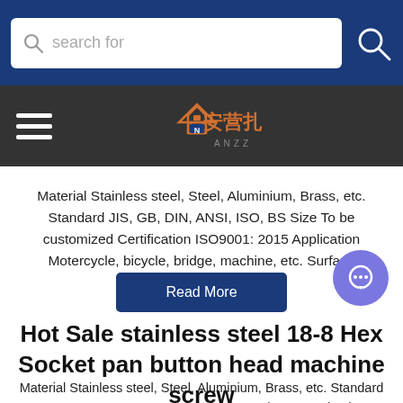search for
[Figure (logo): ANZZ brand logo with house icon and Chinese characters on dark navigation bar]
Material Stainless steel, Steel, Aluminium, Brass, etc. Standard JIS, GB, DIN, ANSI, ISO, BS Size To be customized Certification ISO9001: 2015 Application Motercycle, bicycle, bridge, machine, etc. Surface
Read More
Hot Sale stainless steel 18-8 Hex Socket pan button head machine screw
Material Stainless steel, Steel, Aluminium, Brass, etc. Standard JIS, GB, DIN, ANSI, ISO, BS Size To be customized Certification ISO9001: 2015 Application Motercycle, bicycle, bridge, machine, etc. Surface Color ...